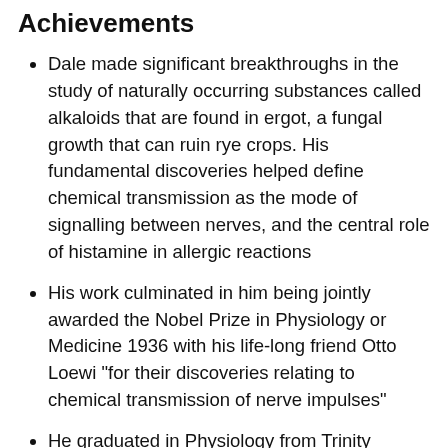Achievements
Dale made significant breakthroughs in the study of naturally occurring substances called alkaloids that are found in ergot, a fungal growth that can ruin rye crops. His fundamental discoveries helped define chemical transmission as the mode of signalling between nerves, and the central role of histamine in allergic reactions
His work culminated in him being jointly awarded the Nobel Prize in Physiology or Medicine 1936 with his life-long friend Otto Loewi "for their discoveries relating to chemical transmission of nerve impulses"
He graduated in Physiology from Trinity College, Cambridge in 1900 but later qualified in medicine in 1909. While still studying medicine, he joined